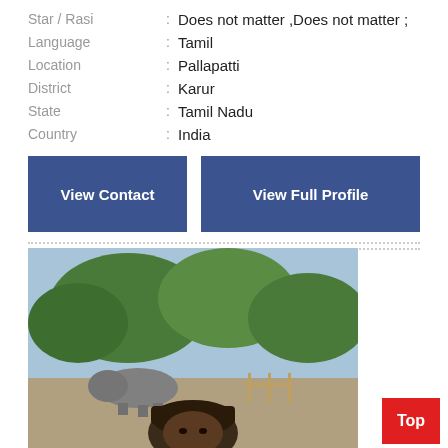| Star / Rasi | : | Does not matter ,Does not matter ; |
| Language | : | Tamil |
| Location | : | Pallapatti |
| District | : | Karur |
| State | : | Tamil Nadu |
| Country | : | India |
View Contact
View Full Profile
[Figure (photo): A man wearing a cap taking a selfie at what appears to be a zoo or park, with trees and an animal (possibly a rhino or hippopotamus) visible in the background.]
Top